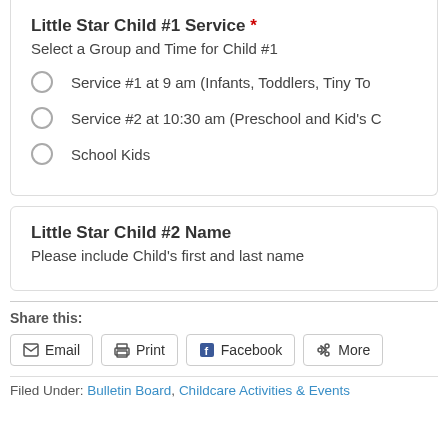Little Star Child #1 Service *
Select a Group and Time for Child #1
Service #1 at 9 am (Infants, Toddlers, Tiny To
Service #2 at 10:30 am (Preschool and Kid's C
School Kids
Little Star Child #2 Name
Please include Child's first and last name
Share this:
Email  Print  Facebook  More
Filed Under: Bulletin Board, Childcare Activities & Events